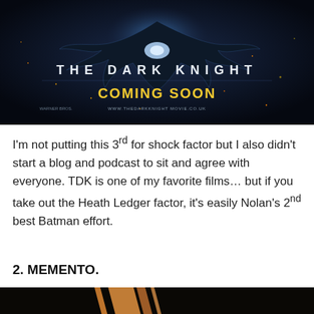[Figure (photo): Movie promotional banner for 'The Dark Knight' showing the Batman logo with wings spread, 'THE DARK KNIGHT' text in white spaced letters, 'COMING SOON' in bold yellow text, and website URL at the bottom, all on a dark cinematic background.]
I'm not putting this 3rd for shock factor but I also didn't start a blog and podcast to sit and agree with everyone. TDK is one of my favorite films… but if you take out the Heath Ledger factor, it's easily Nolan's 2nd best Batman effort.
2. MEMENTO.
[Figure (photo): Partial image of the Memento movie poster, showing a dark scene with diagonal light streaks on a dark background, partially cropped at the bottom of the page.]